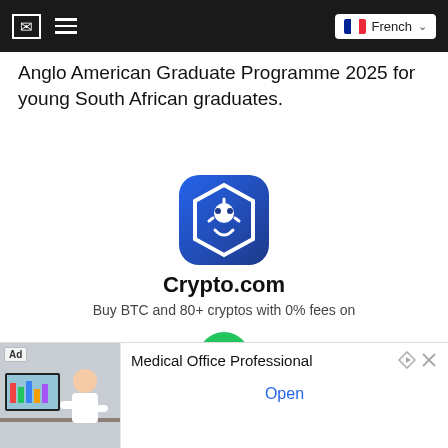Navigation bar with mail icon, menu icon, French language selector
Anglo American Graduate Programme 2025 for young South African graduates.
[Figure (logo): Crypto.com app icon — dark blue hexagonal shield logo on rounded square background]
Crypto.com
Buy BTC and 80+ cryptos with 0% fees on
[Figure (other): Green circular download button with white downward arrow]
[Figure (photo): Ad banner: woman working at computer desk. Medical Office Professional. Open button.]